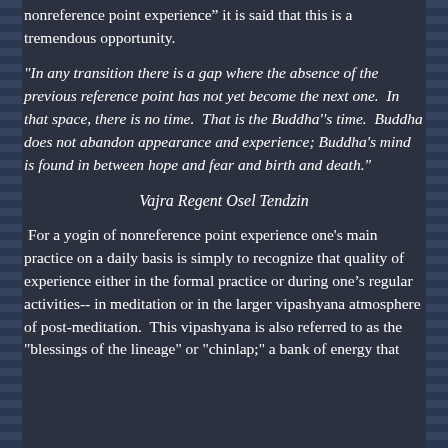nonreference point experience” it is said that this is a tremendous opportunity.
"In any transition there is a gap where the absence of the previous reference point has not yet become the next one.  In that space, there is no time.  That is the Buddha''s time.  Buddha does not abandon appearance and experience; Buddha's mind is found in between hope and fear and birth and death."
Vajra Regent Osel Tendzin
For a yogin of nonreference point experience one's main practice on a daily basis is simply to recognize that quality of experience either in the formal practice or during one’s regular activities-- in meditation or in the larger vipashyana atmosphere of post-meditation.  This vipashyana is also referred to as the "blessings of the lineage" or "chinlap;" a bank of energy that